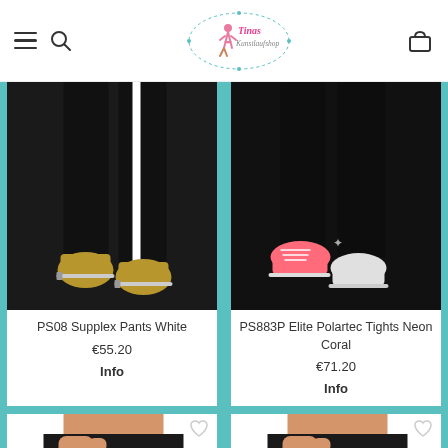Tinas Kunstlaufshop – navigation header with hamburger menu, search, logo, and cart
[Figure (photo): Lower legs of ice skater wearing black supplex pants with white stripe, gold blade ice skates]
[Figure (photo): Lower legs of ice skater wearing black Polartec tights with neon coral/pink ice skates]
PS08 Supplex Pants White
€55.20
Info
PS883P Elite Polartec Tights Neon Coral
€71.20
Info
[Figure (photo): Partial view of person wearing black skating skirt/pants, torso cropped]
[Figure (photo): Partial view of person wearing black skating skirt/pants, torso cropped]